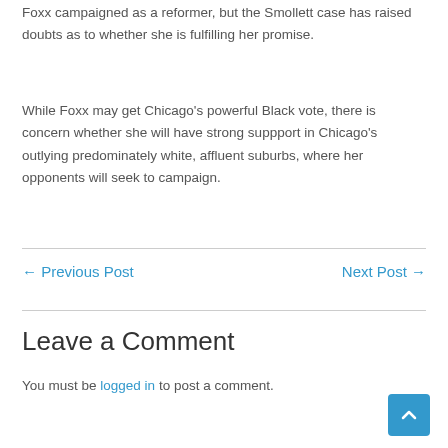Foxx campaigned as a reformer, but the Smollett case has raised doubts as to whether she is fulfilling her promise.
While Foxx may get Chicago's powerful Black vote, there is concern whether she will have strong suppport in Chicago's outlying predominately white, affluent suburbs, where her opponents will seek to campaign.
← Previous Post    Next Post →
Leave a Comment
You must be logged in to post a comment.